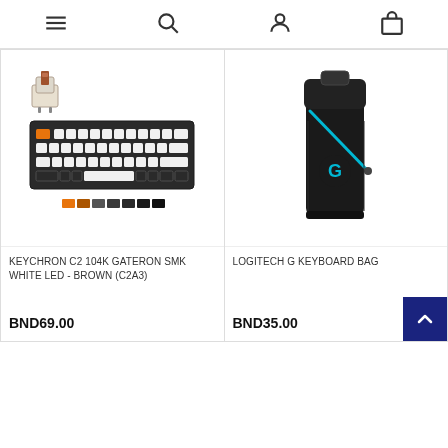Navigation bar with menu, search, profile, and cart icons
[Figure (photo): Keychron C2 104K mechanical keyboard with Gateron Brown switches, white LED backlight, shown with a brown switch and color swatch options in orange and dark colors]
KEYCHRON C2 104K GATERON SMK WHITE LED - BROWN (C2A3)
BND69.00
[Figure (photo): Logitech G keyboard bag, black with blue zipper and Logitech G logo, upright standing position]
LOGITECH G KEYBOARD BAG
BND35.00